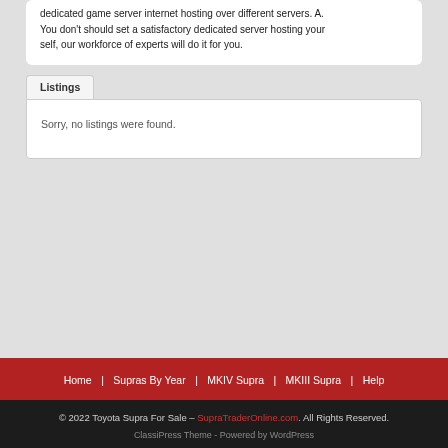dedicated game server internet hosting over different servers. A. You don't should set a satisfactory dedicated server hosting your self, our workforce of experts will do it for you.
Listings
Sorry, no listings were found.
Home | Supras By Year | MKIV Supra | MKIII Supra | Help
© 2022 Toyota Supra For Sale – SupraTraderOnline.com. All Rights Reserved.
ClassiPress Theme - Powered by WordPress